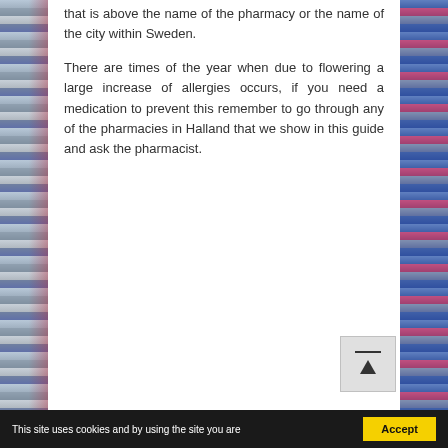that is above the name of the pharmacy or the name of the city within Sweden.
There are times of the year when due to flowering a large increase of allergies occurs, if you need a medication to prevent this remember to go through any of the pharmacies in Halland that we show in this guide and ask the pharmacist.
[Figure (photo): Pharmacy store interior showing product shelves on left and right sides, visible behind the main content area as background strips]
This site uses cookies and by using the site you are